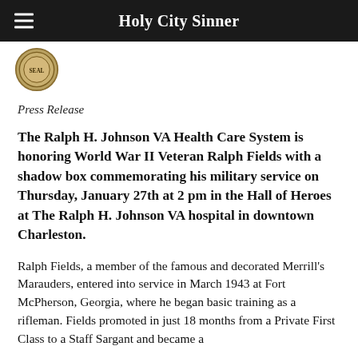Holy City Sinner
[Figure (logo): Circular gold/brown seal or logo emblem, partially visible at top left]
Press Release
The Ralph H. Johnson VA Health Care System is honoring World War II Veteran Ralph Fields with a shadow box commemorating his military service on Thursday, January 27th at 2 pm in the Hall of Heroes at The Ralph H. Johnson VA hospital in downtown Charleston.
Ralph Fields, a member of the famous and decorated Merrill's Marauders, entered into service in March 1943 at Fort McPherson, Georgia, where he began basic training as a rifleman. Fields promoted in just 18 months from a Private First Class to a Staff Sargant and became a